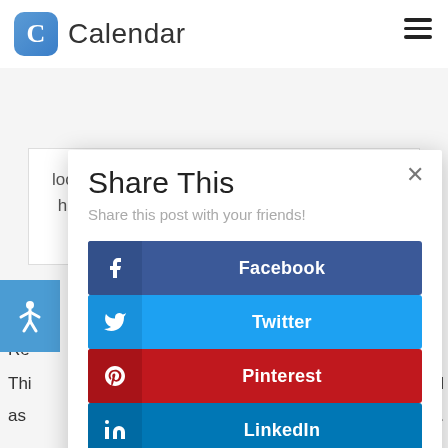Calendar
looking for new challenges and ways to better himself as well as the lives of people around him.
Share This
Share this post with your friends!
Facebook
Twitter
Pinterest
LinkedIn